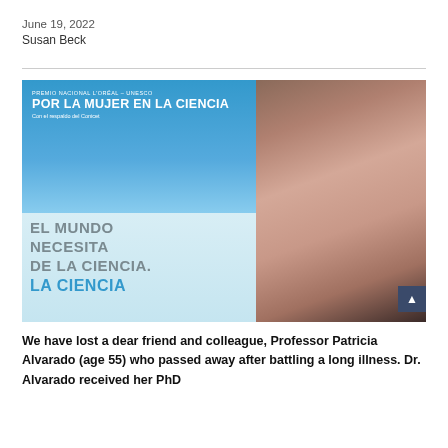June 19, 2022
Susan Beck
[Figure (photo): Woman in white jacket standing in front of a blue banner reading 'Premio Nacional L'Oréal - UNESCO Por La Mujer En La Ciencia, Con el respaldo del Conicet' with text 'El Mundo Necesita De La Ciencia. La Ciencia' visible on the lower portion of the banner.]
We have lost a dear friend and colleague, Professor Patricia Alvarado (age 55) who passed away after battling a long illness. Dr. Alvarado received her PhD